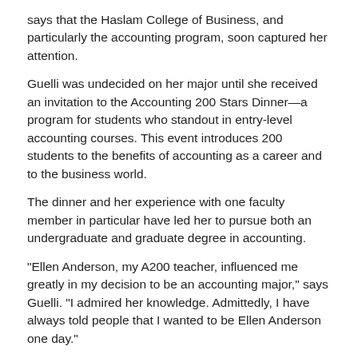says that the Haslam College of Business, and particularly the accounting program, soon captured her attention.
Guelli was undecided on her major until she received an invitation to the Accounting 200 Stars Dinner—a program for students who standout in entry-level accounting courses. This event introduces 200 students to the benefits of accounting as a career and to the business world.
The dinner and her experience with one faculty member in particular have led her to pursue both an undergraduate and graduate degree in accounting.
"Ellen Anderson, my A200 teacher, influenced me greatly in my decision to be an accounting major," says Guelli. "I admired her knowledge. Admittedly, I have always told people that I wanted to be Ellen Anderson one day."
Guelli had similarly valuable experiences with other accounting faculty members. She emphasizes that while the program is rigorous, the faculty put in a lot of effort to ensure student success and help launch their careers.